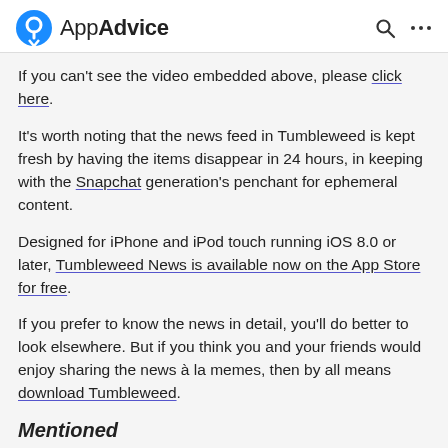AppAdvice
If you can't see the video embedded above, please click here.
It's worth noting that the news feed in Tumbleweed is kept fresh by having the items disappear in 24 hours, in keeping with the Snapchat generation's penchant for ephemeral content.
Designed for iPhone and iPod touch running iOS 8.0 or later, Tumbleweed News is available now on the App Store for free.
If you prefer to know the news in detail, you'll do better to look elsewhere. But if you think you and your friends would enjoy sharing the news à la memes, then by all means download Tumbleweed.
Mentioned